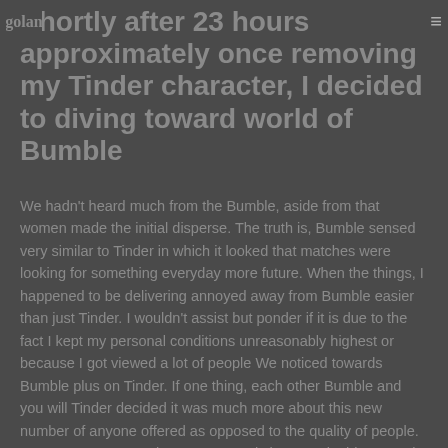golan [logo] ☰
Shortly after 23 hours approximately once removing my Tinder character, I decided to diving toward world of Bumble
We hadn't heard much from the Bumble, aside from that women made the initial disperse. The truth is, Bumble sensed very similar to Tinder in which it looked that matches were looking for something everyday more future. When the things, I happened to be delivering annoyed away from Bumble easier than just Tinder. I wouldn't assist but ponder if it is due to the fact I kept my personal conditions unreasonably highest or because I got viewed a lot of people We noticed towards Bumble plus on Tinder. If one thing, each other Bumble and you will Tinder decided it was much more about this new number of anyone offered as opposed to the quality of people. Anyway, I was removing my personal character in this a couple of hours and you can shifting